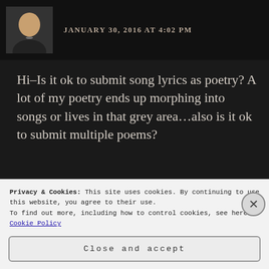JANUARY 30, 2016 AT 4:02 PM
Hi–Is it ok to submit song lyrics as poetry? A lot of my poetry ends up morphing into songs or lives in that grey area...also is it ok to submit multiple poems?
What a great idea.
Privacy & Cookies: This site uses cookies. By continuing to use this website, you agree to their use.
To find out more, including how to control cookies, see here: Cookie Policy
Close and accept